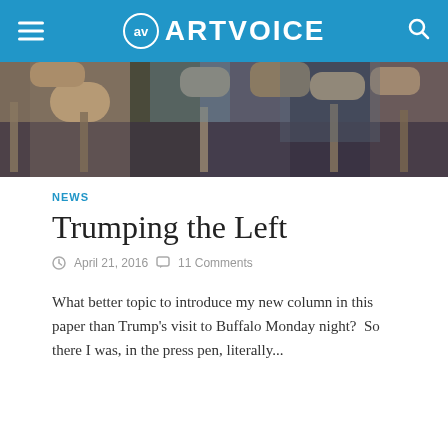ARTVOICE
[Figure (photo): Crowd of people at a rally, hands raised overhead, taken from a low angle]
NEWS
Trumping the Left
April 21, 2016   11 Comments
What better topic to introduce my new column in this paper than Trump's visit to Buffalo Monday night?  So there I was, in the press pen, literally...